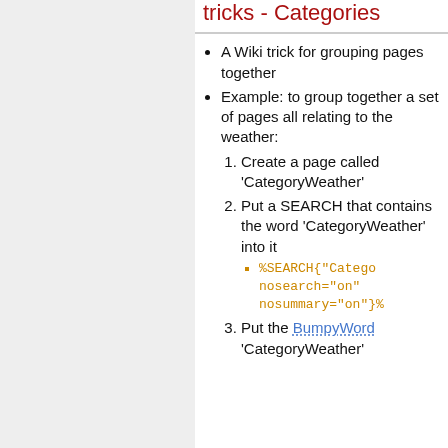tricks - Categories
A Wiki trick for grouping pages together
Example: to group together a set of pages all relating to the weather:
1. Create a page called 'CategoryWeather'
2. Put a SEARCH that contains the word 'CategoryWeather' into it
%SEARCH{"Catego... nosearch="on" nosummary="on"}%
3. Put the BumpyWord 'CategoryWeather'